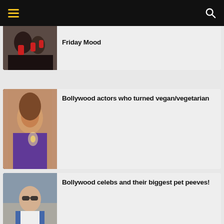Navigation bar with hamburger menu and search icon
[Figure (photo): Partially visible card with photo of people at a press conference with microphones. Title: 'Friday Mood']
Friday Mood
[Figure (photo): Photo of a Bollywood actress with long dark hair holding a candle, wearing a purple outfit.]
Bollywood actors who turned vegan/vegetarian
[Figure (photo): Photo of a man wearing sunglasses and a denim jacket with white t-shirt, standing outdoors.]
Bollywood celebs and their biggest pet peeves!
[Figure (photo): Partially visible photo of a woman smiling, appearing to be in a romantic scene.]
Best romantic proposal scenes from Bollywood movies